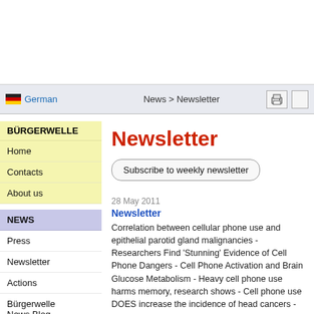[Figure (screenshot): White banner/ad area at top of webpage]
German | News > Newsletter
BÜRGERWELLE
Home
Contacts
About us
NEWS
Press
Newsletter
Actions
Bürgerwelle News Blog
Newsletter
Subscribe to weekly newsletter
28 May 2011
Newsletter
Correlation between cellular phone use and epithelial parotid gland malignancies - Researchers Find 'Stunning' Evidence of Cell Phone Dangers - Cell Phone Activation and Brain Glucose Metabolism - Heavy cell phone use harms memory, research shows - Cell phone use DOES increase the incidence of head cancers -